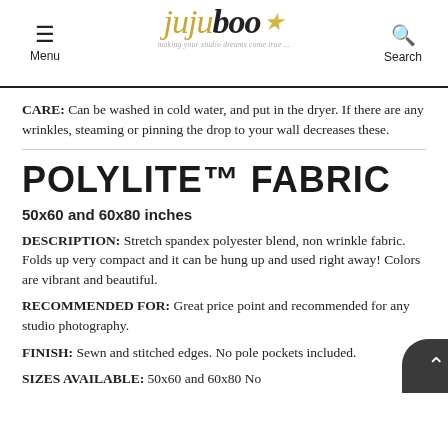Menu | jujuboo (logo) making your studio dreams come true... | Search
CARE: Can be washed in cold water, and put in the dryer. If there are any wrinkles, steaming or pinning the drop to your wall decreases these.
POLYLITE™ FABRIC
50x60 and 60x80 inches
DESCRIPTION: Stretch spandex polyester blend, non wrinkle fabric. Folds up very compact and it can be hung up and used right away! Colors are vibrant and beautiful.
RECOMMENDED FOR: Great price point and recommended for any studio photography.
FINISH: Sewn and stitched edges. No pole pockets included.
SIZES AVAILABLE: 50x60 and 60x80 No...